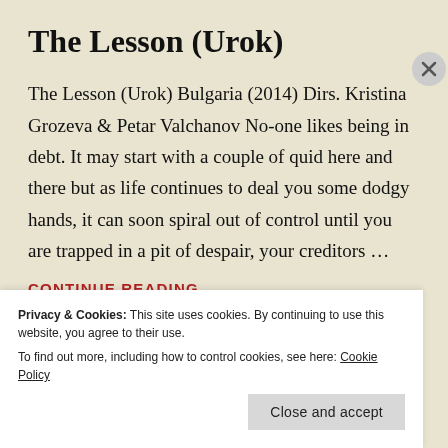The Lesson (Urok)
The Lesson (Urok) Bulgaria (2014) Dirs. Kristina Grozeva & Petar Valchanov No-one likes being in debt. It may start with a couple of quid here and there but as life continues to deal you some dodgy hands, it can soon spiral out of control until you are trapped in a pit of despair, your creditors …
CONTINUE READING
Privacy & Cookies: This site uses cookies. By continuing to use this website, you agree to their use.
To find out more, including how to control cookies, see here: Cookie Policy
Close and accept